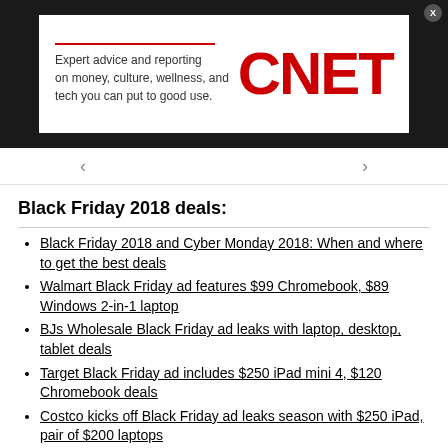[Figure (logo): CNET advertisement banner with text 'Expert advice and reporting on money, culture, wellness, and tech you can put to good use.' and red CNET logo]
Black Friday 2018 deals:
Black Friday 2018 and Cyber Monday 2018: When and where to get the best deals
Walmart Black Friday ad features $99 Chromebook, $89 Windows 2-in-1 laptop
BJs Wholesale Black Friday ad leaks with laptop, desktop, tablet deals
Target Black Friday ad includes $250 iPad mini 4, $120 Chromebook deals
Costco kicks off Black Friday ad leaks season with $250 iPad, pair of $200 laptops